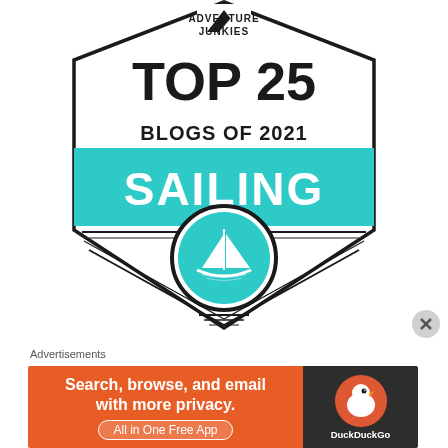[Figure (logo): Adventure Junkies badge: Top 25 Blogs of 2021 Sailing. Hexagonal shield shape with teal banner reading SAILING, sailboat circle icon, and Adventure Junkies mountain logo at top.]
Advertisements
[Figure (screenshot): DuckDuckGo advertisement banner: orange left panel with text 'Search, browse, and email with more privacy. All in One Free App' and dark right panel with DuckDuckGo duck logo.]